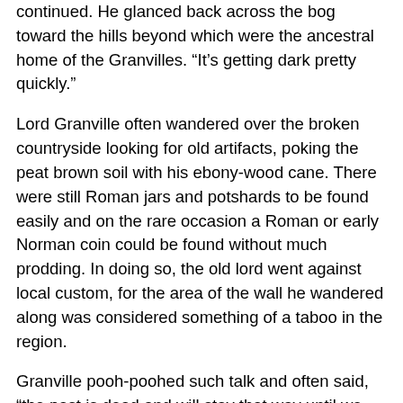continued. He glanced back across the bog toward the hills beyond which were the ancestral home of the Granvilles. “It’s getting dark pretty quickly.”
Lord Granville often wandered over the broken countryside looking for old artifacts, poking the peat brown soil with his ebony-wood cane. There were still Roman jars and potshards to be found easily and on the rare occasion a Roman or early Norman coin could be found without much prodding. In doing so, the old lord went against local custom, for the area of the wall he wandered along was considered something of a taboo in the region.
Granville pooh-poohed such talk and often said, “the past is dead and will stay that way until we dig it up and put it on show.”
On that particular September day the Lord had ranged a bit further a field than usual. He was hiking along a section of the wall that he had not visited since before the torrential rain of the last week. Perhaps that was why he